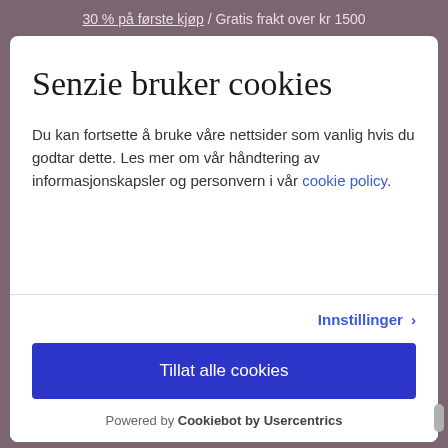30 % på første kjøp / Gratis frakt over kr 1500
Senzie bruker cookies
Du kan fortsette å bruke våre nettsider som vanlig hvis du godtar dette. Les mer om vår håndtering av informasjonskapsler og personvern i vår cookie policy.
Innstillinger >
Tillat alle cookies
Powered by Cookiebot by Usercentrics